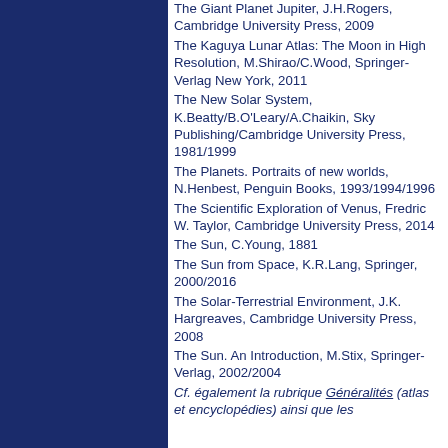The Giant Planet Jupiter, J.H.Rogers, Cambridge University Press, 2009
The Kaguya Lunar Atlas: The Moon in High Resolution, M.Shirao/C.Wood, Springer-Verlag New York, 2011
The New Solar System, K.Beatty/B.O'Leary/A.Chaikin, Sky Publishing/Cambridge University Press, 1981/1999
The Planets. Portraits of new worlds, N.Henbest, Penguin Books, 1993/1994/1996
The Scientific Exploration of Venus, Fredric W. Taylor, Cambridge University Press, 2014
The Sun, C.Young, 1881
The Sun from Space, K.R.Lang, Springer, 2000/2016
The Solar-Terrestrial Environment, J.K. Hargreaves, Cambridge University Press, 2008
The Sun. An Introduction, M.Stix, Springer-Verlag, 2002/2004
Cf. également la rubrique Généralités (atlas et encyclopédies) ainsi que les